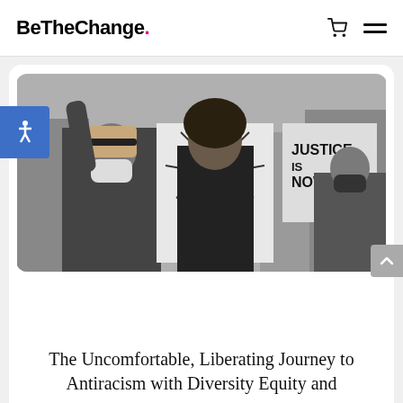BeTheChange
[Figure (photo): Black and white photograph of protesters at a rally holding signs including one with a raised fist drawing and another reading 'JUSTICE IS NOW'. People are wearing masks.]
The Uncomfortable, Liberating Journey to Antiracism with Diversity Equity and